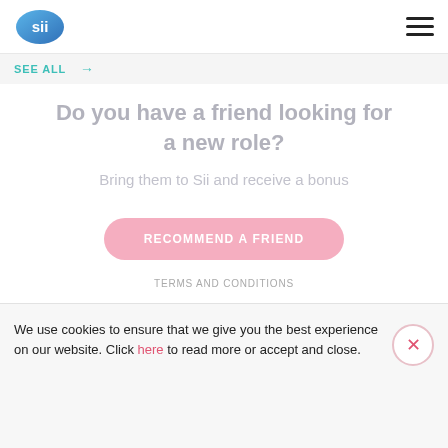[Figure (logo): Sii company logo — blue oval with stylized white 'sii' lettering]
SEE ALL →
Do you have a friend looking for a new role?
Bring them to Sii and receive a bonus
RECOMMEND A FRIEND
TERMS AND CONDITIONS
We use cookies to ensure that we give you the best experience on our website. Click here to read more or accept and close.